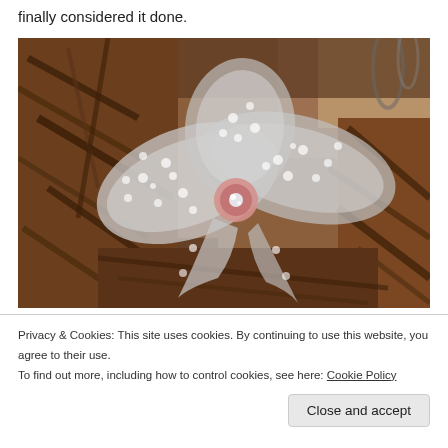finally considered it done.
[Figure (photo): A decorative polka-dot sheer ribbon bow with a pink rhinestone center button, placed on a wicker/twig surface with a blurred wooden background.]
Privacy & Cookies: This site uses cookies. By continuing to use this website, you agree to their use.
To find out more, including how to control cookies, see here: Cookie Policy
Close and accept